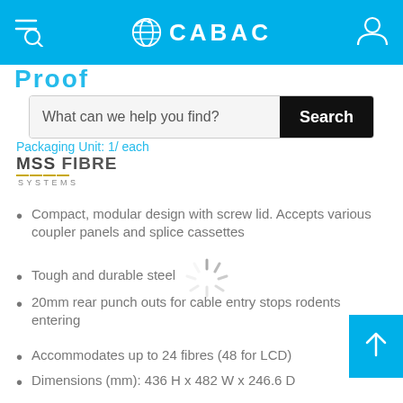CABAC
Proof
What can we help you find?
Packaging Unit: 1/ each
[Figure (logo): MSS Fibre Systems logo]
Compact, modular design with screw lid. Accepts various coupler panels and splice cassettes
Tough and durable steel
20mm rear punch outs for cable entry stops rodents entering
Accommodates up to 24 fibres (48 for LCD)
Dimensions (mm): 436 H x 482 W x 246.6 D